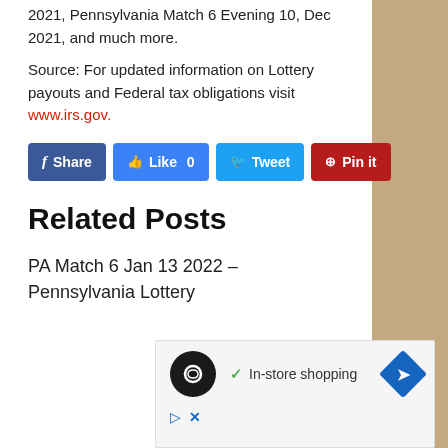2021, Pennsylvania Match 6 Evening 10, Dec 2021, and much more.
Source: For updated information on Lottery payouts and Federal tax obligations visit www.irs.gov.
[Figure (other): Social sharing buttons row: Facebook Share (dark blue), Like 0 (blue), Tweet (light blue), Pin it (red)]
Related Posts
PA Match 6 Jan 13 2022 – Pennsylvania Lottery
[Figure (other): Advertisement banner showing in-store shopping with a black circle logo with infinity-like symbol, checkmark, text 'In-store shopping', blue diamond arrow icon, play and close controls]